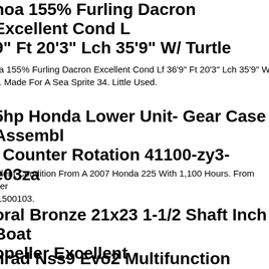hoa 155% Furling Dacron Excellent Cond Lf 36'9" Ft 20'3" Lch 35'9" W/ Turtle
oa 155% Furling Dacron Excellent Cond Lf 36'9" Ft 20'3" Lch 35'9" W/ Turtle. Made For A Sea Sprite 34. Little Used.
5hp Honda Lower Unit- Gear Case Assembly ' Counter Rotation 41100-zy3-e03za
ellent Condition From A 2007 Honda 225 With 1,100 Hours. From Ser -1500103.
oral Bronze 21x23 1-1/2 Shaft Inch Boat opeller Excellent
nrad Nss9 Evo2 Multifunction Gps. Very Go ondition. Tested